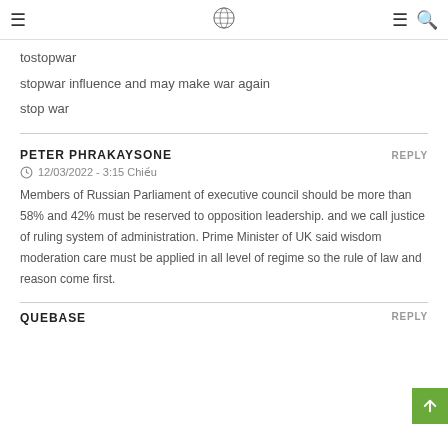Navigation header with hamburger menu, logo, and search icons
tostopwar
stopwar influence and may make war again
stop war
PETER PHRAKAYSONE
12/03/2022 - 3:15 Chiều
Members of Russian Parliament of executive council should be more than 58% and 42% must be reserved to opposition leadership. and we call justice of ruling system of administration. Prime Minister of UK said wisdom moderation care must be applied in all level of regime so the rule of law and reason come first.
QUEBASE